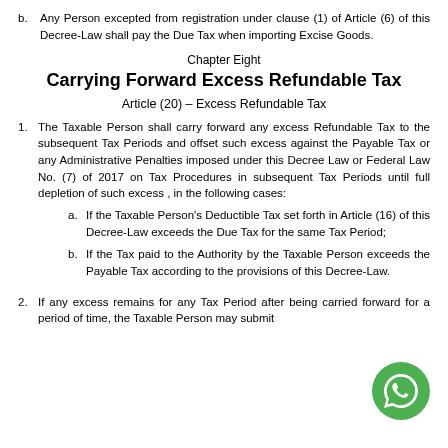b. Any Person excepted from registration under clause (1) of Article (6) of this Decree-Law shall pay the Due Tax when importing Excise Goods.
Chapter Eight
Carrying Forward Excess Refundable Tax
Article (20) – Excess Refundable Tax
1. The Taxable Person shall carry forward any excess Refundable Tax to the subsequent Tax Periods and offset such excess against the Payable Tax or any Administrative Penalties imposed under this Decree Law or Federal Law No. (7) of 2017 on Tax Procedures in subsequent Tax Periods until full depletion of such excess , in the following cases:
a. If the Taxable Person's Deductible Tax set forth in Article (16) of this Decree-Law exceeds the Due Tax for the same Tax Period;
b. If the Tax paid to the Authority by the Taxable Person exceeds the Payable Tax according to the provisions of this Decree-Law.
2. If any excess remains for any Tax Period after being carried forward for a period of time, the Taxable Person may submit